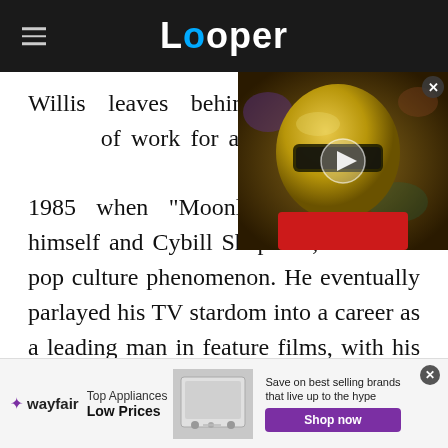Looper
[Figure (screenshot): Video thumbnail showing a person in a gold superhero helmet/mask with a play button overlay]
Willis leaves behind an incredible legacy of work for audiences to enjoy. His big break in the business came in 1985 when "Moonlighting," starring himself and Cybill Shepherd, became a pop culture phenomenon. He eventually parlayed his TV stardom into a career as a leading man in feature films, with his big-screen leading debut in 1987's "Blind Date," a
[Figure (infographic): Wayfair advertisement banner: Top Appliances Low Prices, Save on best selling brands that live up to the hype, Shop now button]